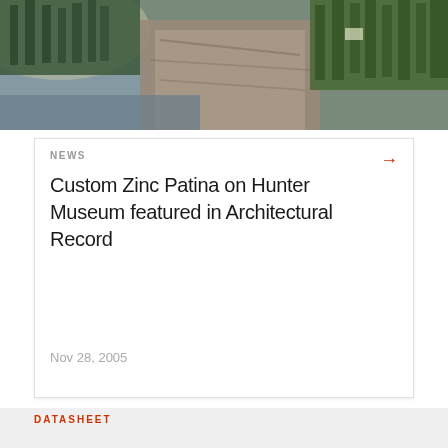[Figure (photo): Aerial photo of a rocky cliff face along a calm river with dense forest and trees, mist in background]
NEWS
Custom Zinc Patina on Hunter Museum featured in Architectural Record
Nov 28, 2005
DATASHEET